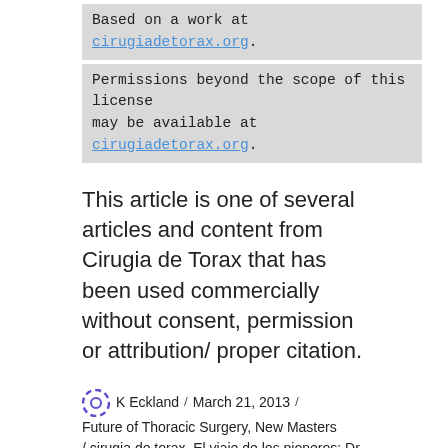Based on a work at cirugiadetorax.org.
Permissions beyond the scope of this license may be available at cirugiadetorax.org.
This article is one of several articles and content from Cirugia de Torax that has been used commercially without consent, permission or attribution/ proper citation.
K Eckland / March 21, 2013 / Future of Thoracic Surgery, New Masters / cirugia de torax, El viaje de los pioneros: Dr. Diego Gonzalez Rivas, hablar en espanol, New Masters of thoracic surgery, TedTalks, TEDtalks: Dr. Diego Gonzalez Rivas, video en espanol / Leave a comment
In the Operating Room